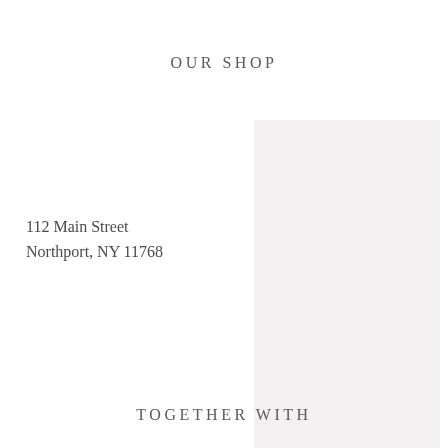OUR SHOP
112 Main Street
Northport, NY 11768
[Figure (photo): A light gray rectangular placeholder representing a shop photo]
TOGETHER WITH